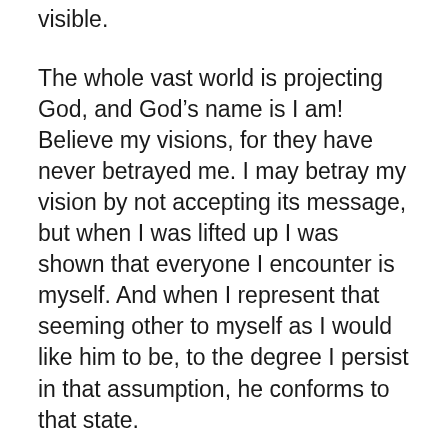visible.
The whole vast world is projecting God, and God’s name is I am! Believe my visions, for they have never betrayed me. I may betray my vision by not accepting its message, but when I was lifted up I was shown that everyone I encounter is myself. And when I represent that seeming other to myself as I would like him to be, to the degree I persist in that assumption, he conforms to that state.
Now, in the Lord’s hand there is a cup with foaming wine, all mixed. Shall I not take the cup which the Father has given to me? Tonight I can truly say I have